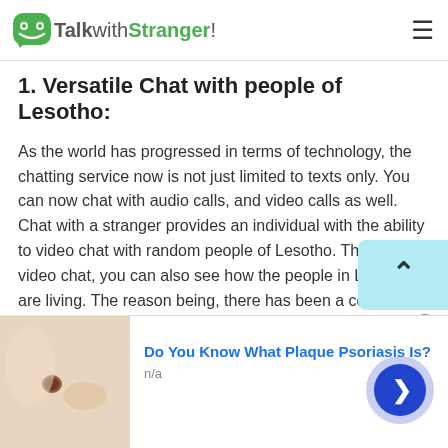TalkwithStranger!
1. Versatile Chat with people of Lesotho:
As the world has progressed in terms of technology, the chatting service now is not just limited to texts only. You can now chat with audio calls, and video calls as well. Chat with a stranger provides an individual with the ability to video chat with random people of Lesotho. Through video chat, you can also see how the people in Lesotho are living. The reason being, there has been a conception around the world that Lesotho is a poor country. Now since you can chat with people of Lesotho these things
[Figure (other): Scroll to top button with upward chevron arrow on light blue background]
[Figure (other): Advertisement banner: skin close-up photo with text 'Do You Know What Plaque Psoriasis Is?' and n/a subtext, with a next arrow button and close button]